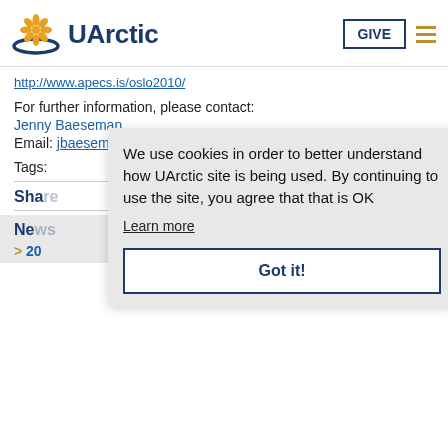UArctic — GIVE [button] [menu icon]
http://www.apecs.is/oslo2010/
For further information, please contact:
Jenny Baeseman
Email: jbaeseman@gmail.com
Tags:
Share
News
> 20
We use cookies in order to better understand how UArctic site is being used. By continuing to use the site, you agree that that is OK
Learn more
Got it!